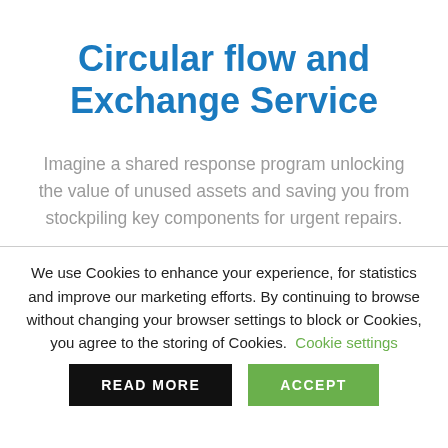Circular flow and Exchange Service
Imagine a shared response program unlocking the value of unused assets and saving you from stockpiling key components for urgent repairs.
We use Cookies to enhance your experience, for statistics and improve our marketing efforts. By continuing to browse without changing your browser settings to block or Cookies, you agree to the storing of Cookies. Cookie settings
READ MORE
ACCEPT